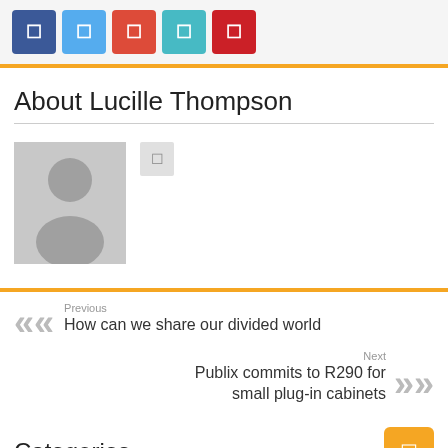[Figure (infographic): Social share buttons: Facebook (dark blue), Twitter (light blue), Google+ (red-orange), LinkedIn-style (teal), Pinterest (red)]
About Lucille Thompson
[Figure (photo): Default avatar placeholder (grey silhouette of a person) with a small icon button beside it]
Previous
How can we share our divided world
Next
Publix commits to R290 for small plug-in cabinets
Categories